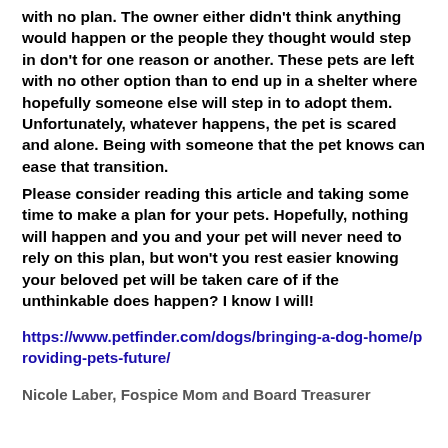with no plan. The owner either didn't think anything would happen or the people they thought would step in don't for one reason or another. These pets are left with no other option than to end up in a shelter where hopefully someone else will step in to adopt them. Unfortunately, whatever happens, the pet is scared and alone. Being with someone that the pet knows can ease that transition.
Please consider reading this article and taking some time to make a plan for your pets. Hopefully, nothing will happen and you and your pet will never need to rely on this plan, but won't you rest easier knowing your beloved pet will be taken care of if the unthinkable does happen? I know I will!
https://www.petfinder.com/dogs/bringing-a-dog-home/providing-pets-future/
Nicole Laber, Fospice Mom and Board Treasurer